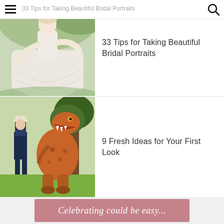33 Tips for Taking Beautiful Bridal Portraits
[Figure (photo): Bride in flowing white dress dancing outdoors in a dreamy garden setting]
33 Tips for Taking Beautiful Bridal Portraits
[Figure (photo): Groom in military uniform standing next to person in inflatable T-Rex dinosaur costume outdoors under a large tree]
9 Fresh Ideas for Your First Look
[Figure (photo): Advertisement banner with pink background reading 'Celebrating could be easy...' in cursive script]